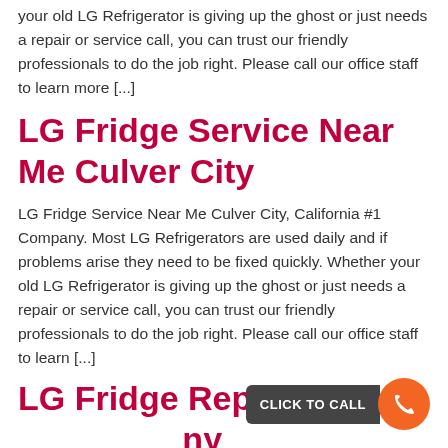your old LG Refrigerator is giving up the ghost or just needs a repair or service call, you can trust our friendly professionals to do the job right. Please call our office staff to learn more [...]
LG Fridge Service Near Me Culver City
LG Fridge Service Near Me Culver City, California #1 Company. Most LG Refrigerators are used daily and if problems arise they need to be fixed quickly. Whether your old LG Refrigerator is giving up the ghost or just needs a repair or service call, you can trust our friendly professionals to do the job right. Please call our office staff to learn [...]
LG Fridge Repair Company Culver City
[Figure (other): Orange circular click-to-call button with phone icon and dark label reading CLICK TO CALL]